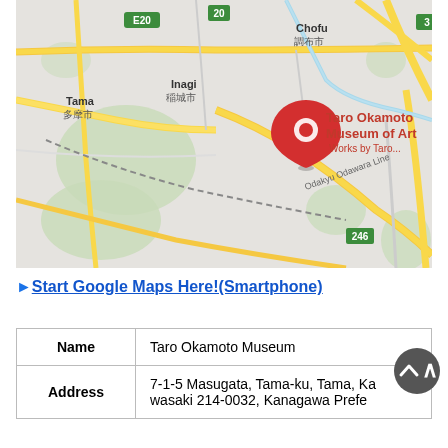[Figure (map): Google Maps screenshot showing the location of Taro Okamoto Museum of Art in the Tama/Kawasaki area of Japan, with surrounding cities including Chofu, Komae, Setagaya, Machida, and Kawasaki labeled, major roads visible, and a red map pin marking the museum location.]
▶︎ Start Google Maps Here!(Smartphone)
|  |  |
| --- | --- |
| Name | Taro Okamoto Museum |
| Address | 7-1-5 Masugata, Tama-ku, Tama, Kawasaki 214-0032, Kanagawa Prefe... |